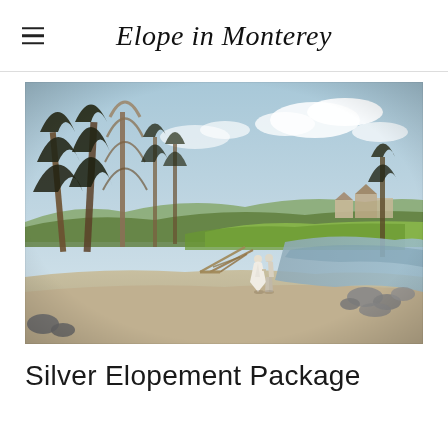Elope in Monterey
[Figure (photo): A couple dressed in white walking hand-in-hand along a sandy beach with driftwood, cypress trees, and a coastal cove in Monterey, California. Blue sky with light clouds in background.]
Silver Elopement Package